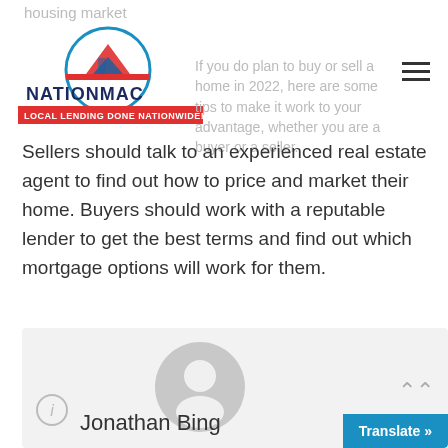housing market
[Figure (logo): NationMac logo — circular emblem with house/mountains, text NATIONMAC LOCAL LENDING DONE NATIONWIDE]
If you do plan to buy or sell a home in 2022, here are some tips to make it work to your advantage, whether you are a buyer or a seller.
Sellers should talk to an experienced real estate agent to find out how to price and market their home. Buyers should work with a reputable lender to get the best terms and find out which mortgage options will work for them.
[Figure (other): Author card with default user avatar icon, caret-up button, info icon, author name 'Jonathan Bing' and Translate button]
Jonathan Bing